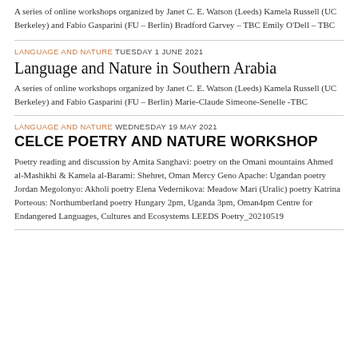A series of online workshops organized by Janet C. E. Watson (Leeds) Kamela Russell (UC Berkeley) and Fabio Gasparini (FU – Berlin) Bradford Garvey – TBC Emily O'Dell – TBC
LANGUAGE AND NATURE TUESDAY 1 JUNE 2021
Language and Nature in Southern Arabia
A series of online workshops organized by Janet C. E. Watson (Leeds) Kamela Russell (UC Berkeley) and Fabio Gasparini (FU – Berlin) Marie-Claude Simeone-Senelle -TBC
LANGUAGE AND NATURE WEDNESDAY 19 MAY 2021
CELCE POETRY AND NATURE WORKSHOP
Poetry reading and discussion by Amita Sanghavi: poetry on the Omani mountains Ahmed al-Mashikhi & Kamela al-Barami: Shehret, Oman Mercy Geno Apache: Ugandan poetry Jordan Megolonyo: Akholi poetry Elena Vedernikova: Meadow Mari (Uralic) poetry Katrina Porteous: Northumberland poetry Hungary 2pm, Uganda 3pm, Oman4pm Centre for Endangered Languages, Cultures and Ecosystems LEEDS Poetry_20210519